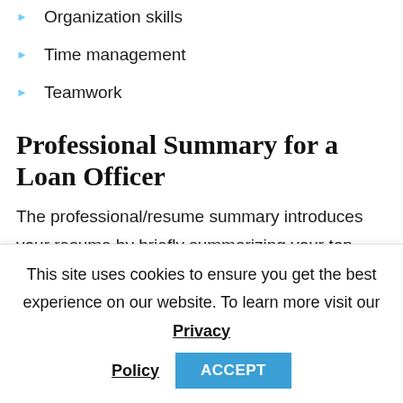Organization skills
Time management
Teamwork
Professional Summary for a Loan Officer
The professional/resume summary introduces your resume by briefly summarizing your top achievements, skills, and experience.
This site uses cookies to ensure you get the best experience on our website. To learn more visit our Privacy Policy
ACCEPT